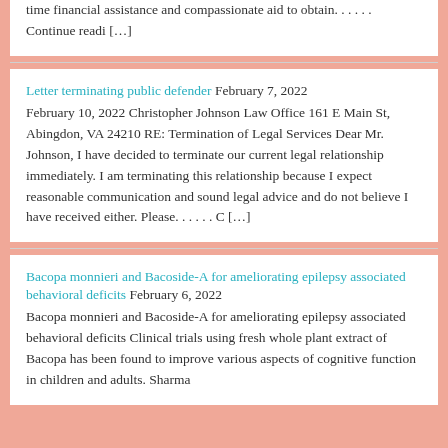time financial assistance and compassionate aid to obtain. . . . . . Continue readi […]
Letter terminating public defender February 7, 2022 February 10, 2022 Christopher Johnson Law Office 161 E Main St, Abingdon, VA 24210 RE: Termination of Legal Services Dear Mr. Johnson, I have decided to terminate our current legal relationship immediately. I am terminating this relationship because I expect reasonable communication and sound legal advice and do not believe I have received either. Please. . . . . . C […]
Bacopa monnieri and Bacoside-A for ameliorating epilepsy associated behavioral deficits February 6, 2022 Bacopa monnieri and Bacoside-A for ameliorating epilepsy associated behavioral deficits Clinical trials using fresh whole plant extract of Bacopa has been found to improve various aspects of cognitive function in children and adults. Sharma